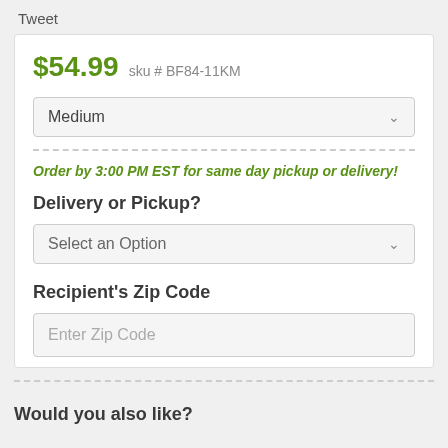Tweet
$54.99  sku # BF84-11KM
Medium
Order by 3:00 PM EST for same day pickup or delivery!
Delivery or Pickup?
Select an Option
Recipient's Zip Code
Enter Zip Code
Would you also like?